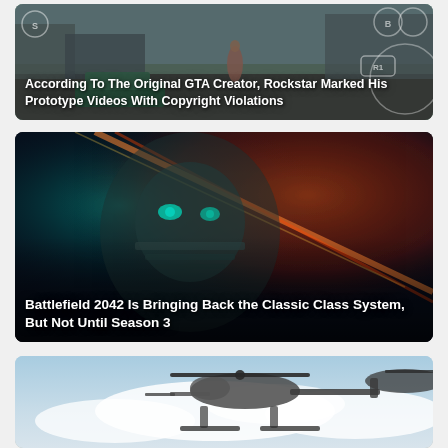[Figure (photo): Screenshot from GTA game with HUD elements overlay. Dark overlay with game UI circles and rectangle button prompts visible.]
According To The Original GTA Creator, Rockstar Marked His Prototype Videos With Copyright Violations
[Figure (photo): Cinematic sci-fi robot face with teal and orange/red laser lighting for Battlefield 2042.]
Battlefield 2042 Is Bringing Back the Classic Class System, But Not Until Season 3
[Figure (photo): Military helicopter silhouette against cloudy sky, partially visible at bottom of page.]